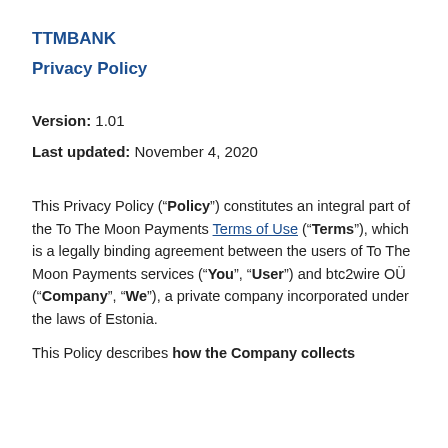TTMBANK
Privacy Policy
Version: 1.01
Last updated: November 4, 2020
This Privacy Policy (“Policy”) constitutes an integral part of the To The Moon Payments Terms of Use (“Terms”), which is a legally binding agreement between the users of To The Moon Payments services (“You”, “User”) and btc2wire OÜ (“Company”, “We”), a private company incorporated under the laws of Estonia.
This Policy describes how the Company collects